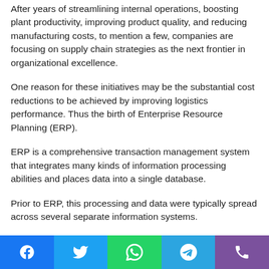After years of streamlining internal operations, boosting plant productivity, improving product quality, and reducing manufacturing costs, to mention a few, companies are focusing on supply chain strategies as the next frontier in organizational excellence.
One reason for these initiatives may be the substantial cost reductions to be achieved by improving logistics performance. Thus the birth of Enterprise Resource Planning (ERP).
ERP is a comprehensive transaction management system that integrates many kinds of information processing abilities and places data into a single database.
Prior to ERP, this processing and data were typically spread across several separate information systems.
Social share bar: Facebook, Twitter, WhatsApp, Telegram, Viber